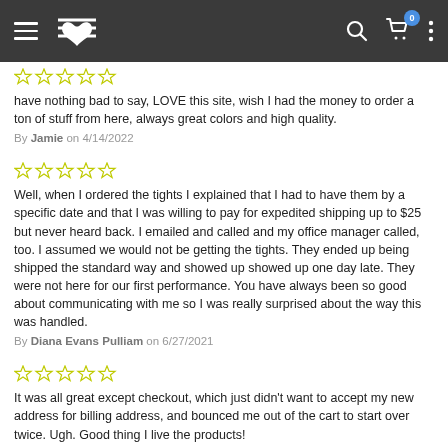Navigation bar with hamburger menu, logo, search, cart (0), and more options
have nothing bad to say, LOVE this site, wish I had the money to order a ton of stuff from here, always great colors and high quality.
By Jamie on 4/14/2022
[Figure (other): 5 yellow/green outline stars rating]
Well, when I ordered the tights I explained that I had to have them by a specific date and that I was willing to pay for expedited shipping up to $25 but never heard back. I emailed and called and my office manager called, too. I assumed we would not be getting the tights. They ended up being shipped the standard way and showed up showed up one day late. They were not here for our first performance. You have always been so good about communicating with me so I was really surprised about the way this was handled.
By Diana Evans Pulliam on 6/27/2021
[Figure (other): 5 yellow/green outline stars rating]
It was all great except checkout, which just didn't want to accept my new address for billing address, and bounced me out of the cart to start over twice. Ugh. Good thing I live the products!